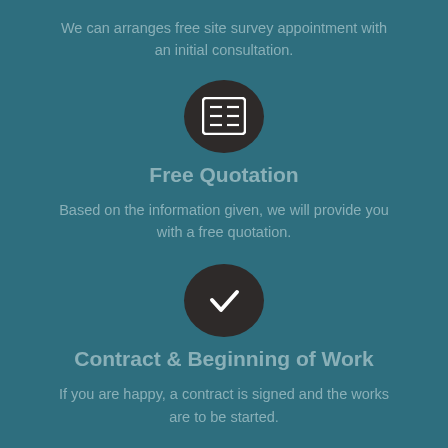We can arranges free site survey appointment with an initial consultation.
[Figure (illustration): Dark circular icon with a list/form symbol inside]
Free Quotation
Based on the information given, we will provide you with a free quotation.
[Figure (illustration): Dark circular icon with a checkmark symbol inside]
Contract & Beginning of Work
If you are happy, a contract is signed and the works are to be started.